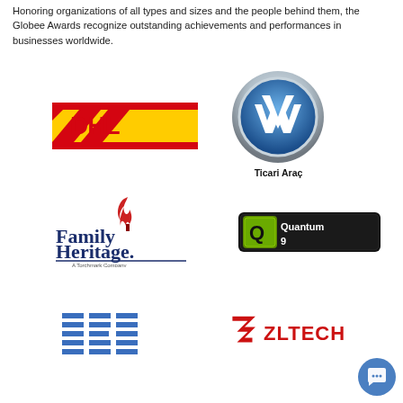Honoring organizations of all types and sizes and the people behind them, the Globee Awards recognize outstanding achievements and performances in businesses worldwide.
[Figure (logo): DHL logo - yellow rectangle with red DHL text and red diagonal stripes]
[Figure (logo): Volkswagen (VW) circular chrome logo with blue background and VW emblem, labeled 'Ticari Araç' below]
[Figure (logo): Family Heritage Life Insurance logo - torch flame icon with red and blue text, 'A Torchmark Company' tagline]
[Figure (logo): IQ Quantum 9 logo - black rectangle with green circuit-board Q and white Quantum 9 text]
[Figure (logo): IBM logo - blue horizontal striped IBM letters]
[Figure (logo): ZLTech logo - red Z arrow icon with red ZLTECH text]